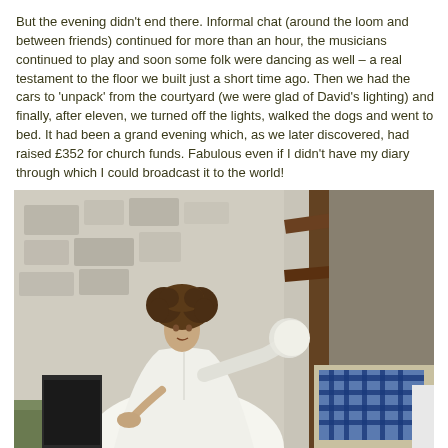But the evening didn't end there. Informal chat (around the loom and between friends) continued for more than an hour, the musicians continued to play and soon some folk were dancing as well – a real testament to the floor we built just a short time ago. Then we had the cars to 'unpack' from the courtyard (we were glad of David's lighting) and finally, after eleven, we turned off the lights, walked the dogs and went to bed. It had been a grand evening which, as we later discovered, had raised £352 for church funds. Fabulous even if I didn't have my diary through which I could broadcast it to the world!
Just before I went to bed I popped my head into the Bothy and discovered that our four little birds were all back in their nest -- they obviously are not ready to leave quite yet.
[Figure (photo): A woman with curly brown hair wearing a white shirt, gesturing with her right arm outstretched toward the camera, standing in what appears to be a rustic workshop or weaving studio with stone walls, wooden loom structure, and tartan fabrics visible in the background.]